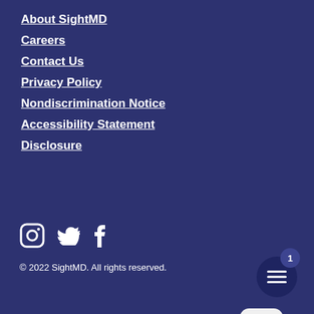About SightMD
Careers
Contact Us
Privacy Policy
Nondiscrimination Notice
Accessibility Statement
Disclosure
[Figure (screenshot): Chat popup with close button, avatar of a woman, and message: Hi there, have a question? Ask us here and we'll text you back!]
[Figure (screenshot): Social media icons: Instagram, Twitter, Facebook]
© 2022 SightMD. All rights reserved.